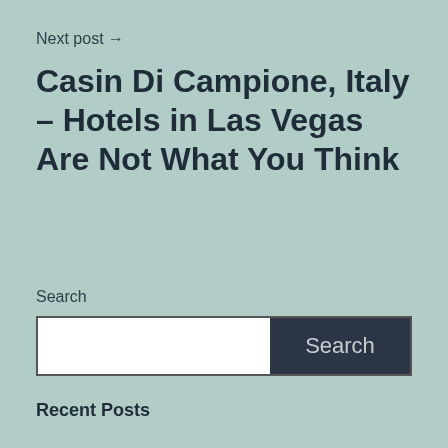Next post →
Casin Di Campione, Italy – Hotels in Las Vegas Are Not What You Think
Search
Recent Posts